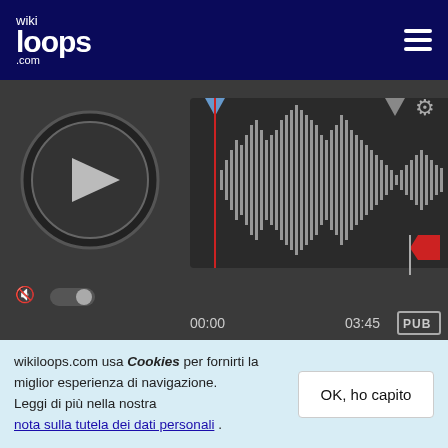wikiloops.com
[Figure (screenshot): Audio player with waveform display, play button, volume control, time display 00:00 / 03:45, and PUB button]
5 anni fa
[Figure (photo): Photo of hands playing piano keys]
Liesching
John, this is awesome!! Thank you so very much!
wikiloops.com usa i Cookies per fornirti la miglior esperienza di navigazione.
Leggi di più nella nostra nota sulla tutela dei dati personali .
OK, ho capito